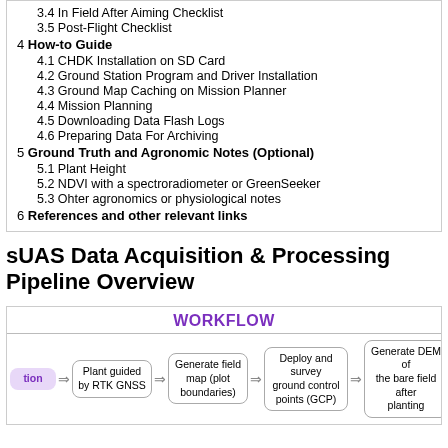3.4 In Field After Aiming Checklist
3.5 Post-Flight Checklist
4 How-to Guide
4.1 CHDK Installation on SD Card
4.2 Ground Station Program and Driver Installation
4.3 Ground Map Caching on Mission Planner
4.4 Mission Planning
4.5 Downloading Data Flash Logs
4.6 Preparing Data For Archiving
5 Ground Truth and Agronomic Notes (Optional)
5.1 Plant Height
5.2 NDVI with a spectroradiometer or GreenSeeker
5.3 Ohter agronomics or physiological notes
6 References and other relevant links
sUAS Data Acquisition & Processing Pipeline Overview
[Figure (flowchart): Workflow diagram showing steps: [tion] -> Plant guided by RTK GNSS -> Generate field map (plot boundaries) -> Deploy and survey ground control points (GCP) -> Generate DEM of the bare field after planting]